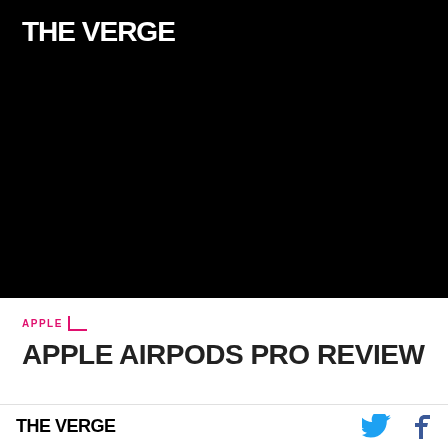[Figure (photo): Black hero image background with The Verge logo in white at top left]
THE VERGE
APPLE
APPLE AIRPODS PRO REVIEW
THE VERGE